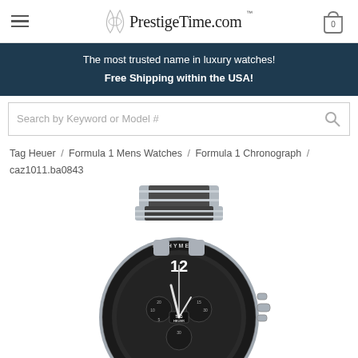PrestigeTime.com
The most trusted name in luxury watches! Free Shipping within the USA!
Search by Keyword or Model #
Tag Heuer / Formula 1 Mens Watches / Formula 1 Chronograph / caz1011.ba0843
[Figure (photo): Tag Heuer Formula 1 Chronograph watch with black dial, tachymetre bezel, and steel bracelet with black ceramic inserts. Model caz1011.ba0843.]